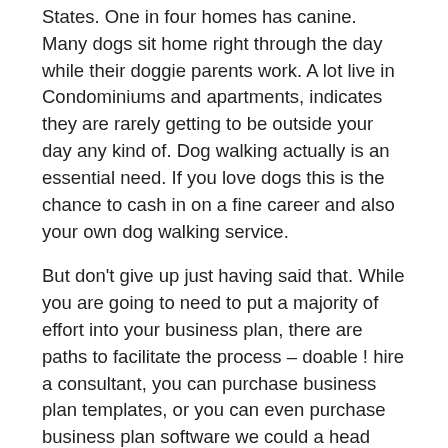States. One in four homes has canine. Many dogs sit home right through the day while their doggie parents work. A lot live in Condominiums and apartments, indicates they are rarely getting to be outside your day any kind of. Dog walking actually is an essential need. If you love dogs this is the chance to cash in on a fine career and also your own dog walking service.
But don't give up just having said that. While you are going to need to put a majority of effort into your business plan, there are paths to facilitate the process – doable ! hire a consultant, you can purchase business plan templates, or you can even purchase business plan software we could a head start.